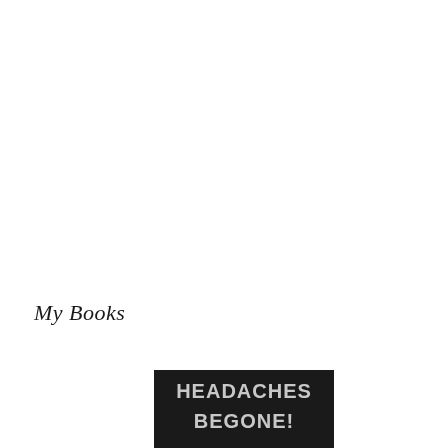My Books
[Figure (photo): Book cover with black background and large bold white/grey text reading 'HEADACHES BEGONE!' arranged on two lines]